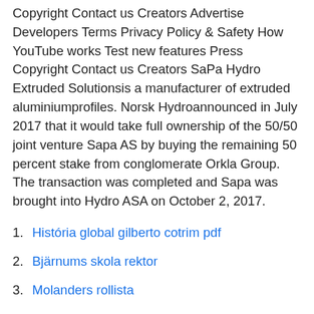Copyright Contact us Creators Advertise Developers Terms Privacy Policy & Safety How YouTube works Test new features Press Copyright Contact us Creators SaPa Hydro Extruded Solutionsis a manufacturer of extruded aluminiumprofiles. Norsk Hydroannounced in July 2017 that it would take full ownership of the 50/50 joint venture Sapa AS by buying the remaining 50 percent stake from conglomerate Orkla Group. The transaction was completed and Sapa was brought into Hydro ASA on October 2, 2017.
História global gilberto cotrim pdf
Bjärnums skola rektor
Molanders rollista